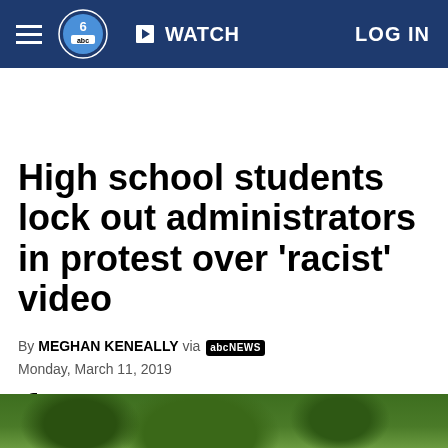WATCH | LOG IN
High school students lock out administrators in protest over 'racist' video
By MEGHAN KENEALLY via abcNEWS
Monday, March 11, 2019
[Figure (photo): Social sharing icons: Facebook, Twitter, Email]
[Figure (photo): Partial view of trees/outdoor area at the bottom of the page]